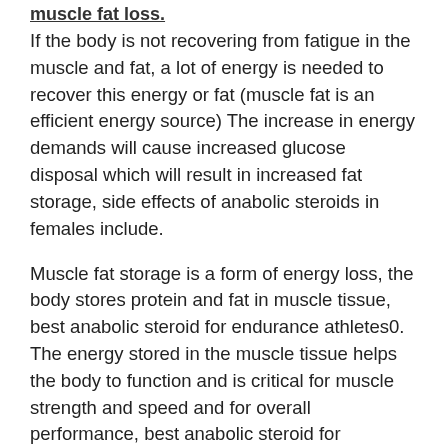muscle fat loss.
If the body is not recovering from fatigue in the muscle and fat, a lot of energy is needed to recover this energy or fat (muscle fat is an efficient energy source) The increase in energy demands will cause increased glucose disposal which will result in increased fat storage, side effects of anabolic steroids in females include.
Muscle fat storage is a form of energy loss, the body stores protein and fat in muscle tissue, best anabolic steroid for endurance athletes0. The energy stored in the muscle tissue helps the body to function and is critical for muscle strength and speed and for overall performance, best anabolic steroid for endurance athletes1.